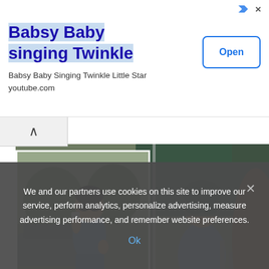[Figure (other): Advertisement banner for 'Babsy Baby singing Twinkle' YouTube video with Open button]
Babsy Baby singing Twinkle
Babsy Baby Singing Twinkle Little Star
youtube.com
[Figure (photo): Main photograph showing a man in white polo shirt and black riding boots seated, and a woman in blue shirt with sunglasses seated beside him, with a smaller inset photo of the woman standing in denim outfit. Appears to be at a polo event.]
We and our partners use cookies on this site to improve our service, perform analytics, personalize advertising, measure advertising performance, and remember website preferences.
Ok